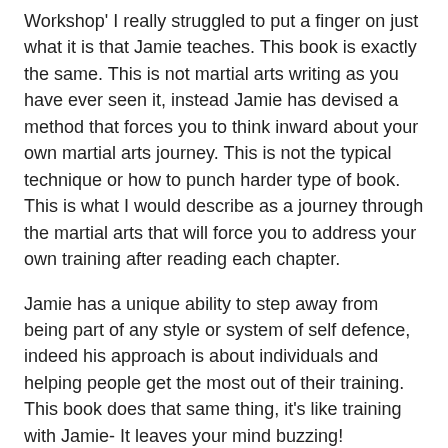Workshop' I really struggled to put a finger on just what it is that Jamie teaches. This book is exactly the same. This is not martial arts writing as you have ever seen it, instead Jamie has devised a method that forces you to think inward about your own martial arts journey. This is not the typical technique or how to punch harder type of book. This is what I would describe as a journey through the martial arts that will force you to address your own training after reading each chapter.
Jamie has a unique ability to step away from being part of any style or system of self defence, indeed his approach is about individuals and helping people get the most out of their training. This book does that same thing, it's like training with Jamie- It leaves your mind buzzing!